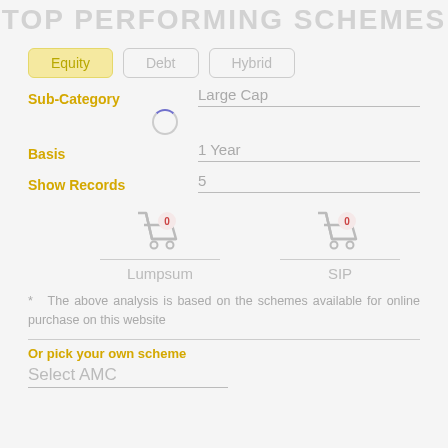TOP PERFORMING Schemes
Equity (active tab), Debt, Hybrid
Sub-Category: Large Cap
Basis: 1 Year
Show Records: 5
[Figure (infographic): Two shopping cart icons with badge '0', labeled Lumpsum and SIP]
* The above analysis is based on the schemes available for online purchase on this website
Or pick your own scheme
Select AMC